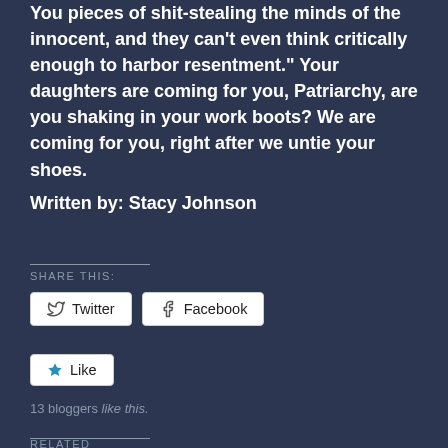You pieces of shit-stealing the minds of the innocent, and they can't even think critically enough to harbor resentment." Your daughters are coming for you, Patriarchy, are you shaking in your work boots? We are coming for you, right after we untie your shoes.
Written by: Stacy Johnson
SHARE THIS:
Twitter
Facebook
Like
13 bloggers like this.
RELATED